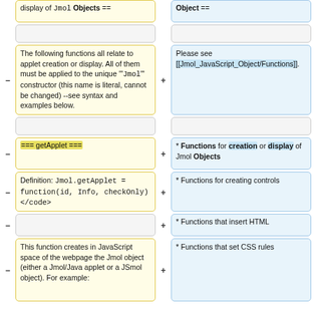display of Jmol Objects ==
Object ==
The following functions all relate to applet creation or display. All of them must be applied to the unique '"<code>Jmol</code>"' constructor (this name is literal, cannot be changed) --see syntax and examples below.
Please see [[Jmol_JavaScript_Object/Functions]].
=== getApplet ===
* Functions for creation or display of Jmol Objects
Definition: <code>Jmol.getApplet = function(id, Info, checkOnly)</code>
* Functions for creating controls
* Functions that insert HTML
This function creates in JavaScript space of the webpage the Jmol object (either a Jmol/Java applet or a JSmol object). For example:
* Functions that set CSS rules